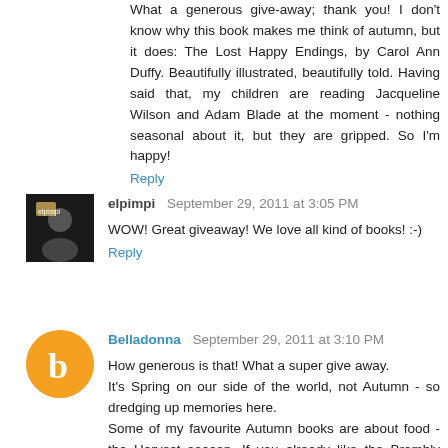What a generous give-away; thank you! I don't know why this book makes me think of autumn, but it does: The Lost Happy Endings, by Carol Ann Duffy. Beautifully illustrated, beautifully told. Having said that, my children are reading Jacqueline Wilson and Adam Blade at the moment - nothing seasonal about it, but they are gripped. So I'm happy!
Reply
elpimpi  September 29, 2011 at 3:05 PM
WOW! Great giveaway! We love all kind of books! :-)
Reply
Belladonna  September 29, 2011 at 3:10 PM
How generous is that! What a super give away.
It's Spring on our side of the world, not Autumn - so dredging up memories here.
Some of my favourite Autumn books are about food - the Harvest season. If you already like the Brambly Hedge